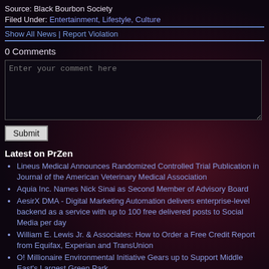Source: Black Bourbon Society
Filed Under: Entertainment, Lifestyle, Culture
Show All News | Report Violation
0 Comments
Enter your comment here
Submit
Latest on PrZen
Lineus Medical Announces Randomized Controlled Trial Publication in Journal of the American Veterinary Medical Association
Aquia Inc. Names Nick Sinai as Second Member of Advisory Board
AesirX DMA - Digital Marketing Automation delivers enterprise-level backend as a service with up to 100 free delivered posts to Social Media per day
William E. Lewis Jr. & Associates: How to Order a Free Credit Report from Equifax, Experian and TransUnion
O! Millionaire Environmental Initiative Gears up to Support Middle East's Largest Green Park
PhaseZero Launches CxAnalytics 1.0, Customers Benefit with Real-Time Analytics and Insights to Drive High-Impact, Fact-Based Decisions